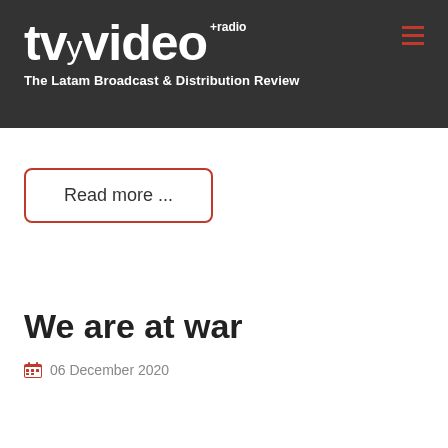tv y video +radio — The Latam Broadcast & Distribution Review
Read more ...
We are at war
06 December 2020